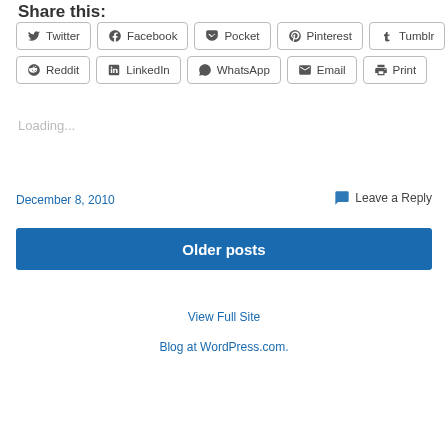Share this:
Twitter
Facebook
Pocket
Pinterest
Tumblr
Reddit
LinkedIn
WhatsApp
Email
Print
Loading...
December 8, 2010
Leave a Reply
Older posts
View Full Site
Blog at WordPress.com.